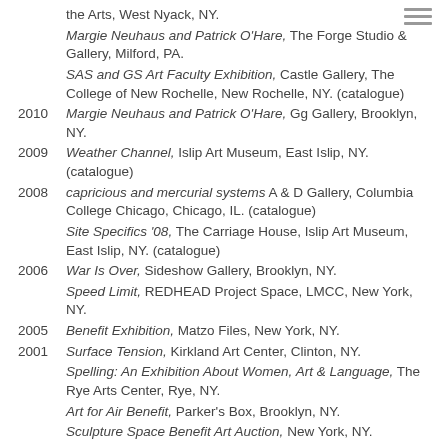the Arts, West Nyack, NY.
Margie Neuhaus and Patrick O'Hare, The Forge Studio & Gallery, Milford, PA.
SAS and GS Art Faculty Exhibition, Castle Gallery, The College of New Rochelle, New Rochelle, NY. (catalogue)
2010  Margie Neuhaus and Patrick O'Hare, Gg Gallery, Brooklyn, NY.
2009  Weather Channel, Islip Art Museum, East Islip, NY. (catalogue)
2008  capricious and mercurial systems A & D Gallery, Columbia College Chicago, Chicago, IL. (catalogue)
Site Specifics '08, The Carriage House, Islip Art Museum, East Islip, NY. (catalogue)
2006  War Is Over, Sideshow Gallery, Brooklyn, NY.
Speed Limit, REDHEAD Project Space, LMCC, New York, NY.
2005  Benefit Exhibition, Matzo Files, New York, NY.
2001  Surface Tension, Kirkland Art Center, Clinton, NY.
Spelling: An Exhibition About Women, Art & Language, The Rye Arts Center, Rye, NY.
Art for Air Benefit, Parker's Box, Brooklyn, NY.
Sculpture Space Benefit Art Auction, New York, NY.
1999  Time/Patterns, Mooney Center Gallery, The College of New Rochelle, New Rochelle, NY.